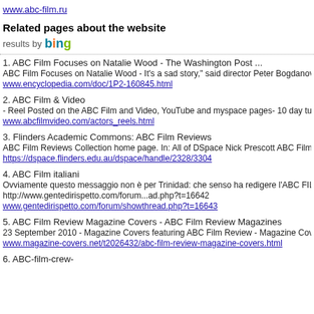www.abc-film.ru
Related pages about the website
results by bing
1. ABC Film Focuses on Natalie Wood - The Washington Post ...
ABC Film Focuses on Natalie Wood - It's a sad story," said director Peter Bogdanovi...
www.encyclopedia.com/doc/1P2-160845.html
2. ABC Film & Video
- Reel Posted on the ABC Film and Video, YouTube and myspace pages- 10 day tur...
www.abcfilmvideo.com/actors_reels.html
3. Flinders Academic Commons: ABC Film Reviews
ABC Film Reviews Collection home page. In: All of DSpace Nick Prescott ABC Film R...
https://dspace.flinders.edu.au/dspace/handle/2328/3304
4. ABC Film italiani
Ovviamente questo messaggio non è per Trinidad: che senso ha redigere l'ABC FILM...
http://www.gentedirispetto.com/forum...ad.php?t=16642
www.gentedirispetto.com/forum/showthread.php?t=16643
5. ABC Film Review Magazine Covers - ABC Film Review Magazines
23 September 2010 - Magazine Covers featuring ABC Film Review - Magazine Cove...
www.magazine-covers.net/t2026432/abc-film-review-magazine-covers.html
6. ABC-film-crew-